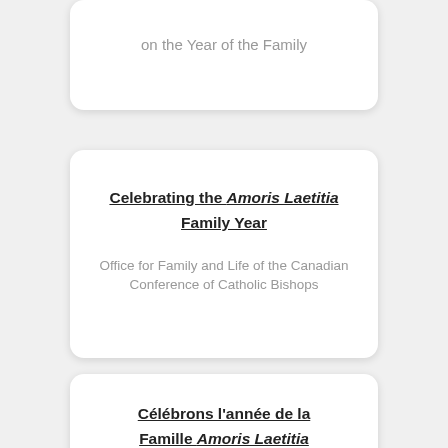on the Year of the Family
Celebrating the Amoris Laetitia Family Year
Office for Family and Life of the Canadian Conference of Catholic Bishops
Célébrons l'année de la Famille Amoris Laetitia
Office for Family and Life of the Canadian Conference of Catholic Bishops